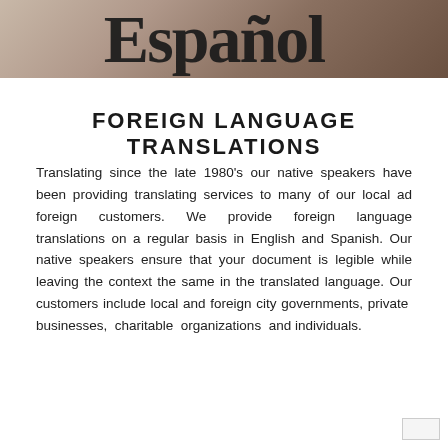[Figure (photo): Cropped photo showing the word 'Español' in large bold text on a brown/tan background, partially cut off at top]
FOREIGN LANGUAGE TRANSLATIONS
Translating since the late 1980's our native speakers have been providing translating services to many of our local ad foreign customers. We provide foreign language translations on a regular basis in English and Spanish. Our native speakers ensure that your document is legible while leaving the context the same in the translated language. Our customers include local and foreign city governments, private businesses, charitable organizations and individuals.